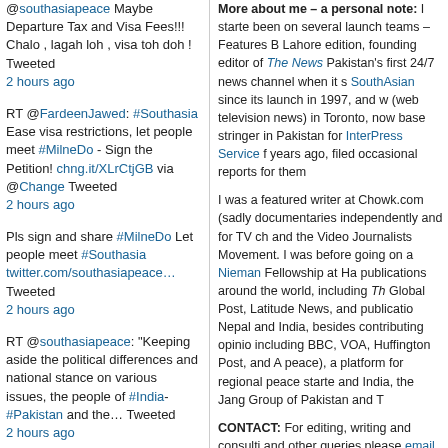@southasiapeace Maybe Departure Tax and Visa Fees!!! Chalo , lagah loh , visa toh doh ! Tweeted 2 hours ago
RT @FardeenJawed: #Southasia Ease visa restrictions, let people meet #MilneDo - Sign the Petition! chng.it/XLrCtjGB via @Change Tweeted 2 hours ago
Pls sign and share #MilneDo Let people meet #Southasia twitter.com/southasiapeace… Tweeted 2 hours ago
RT @southasiapeace: "Keeping aside the political differences and national stance on various issues, the people of #India-#Pakistan and the… Tweeted 2 hours ago
More about me – a personal note: I started been on several launch teams – Features B Lahore edition, founding editor of The News Pakistan's first 24/7 news channel when it s SouthAsian since its launch in 1997, and w (web television news) in Toronto, now base stringer in Pakistan for InterPress Service f years ago, filed occasional reports for them
I was a featured writer at Chowk.com (sadly documentaries independently and for TV ch and the Video Journalists Movement. I was before going on a Nieman Fellowship at Ha publications around the world, including Th Global Post, Latitude News, and publicatio Nepal and India, besides contributing opinio including BBC, VOA, Huffington Post, and A peace), a platform for regional peace starte and India, the Jang Group of Pakistan and T
CONTACT: For editing, writing and consulti and other queries please email Beena Sarw
Follow @beenasarwar  244K follo
[Figure (photo): Partial circular image showing a decorative item with red and beige colors, likely a cap or bowl]
How t a news